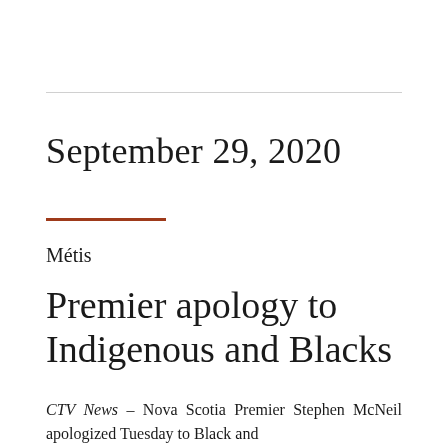September 29, 2020
Métis
Premier apology to Indigenous and Blacks
CTV News – Nova Scotia Premier Stephen McNeil apologized Tuesday to Black and